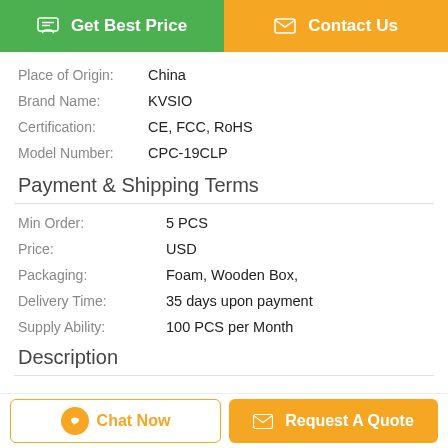[Figure (other): Two buttons: 'Get Best Price' (green) and 'Contact Us' (orange)]
Place of Origin: China
Brand Name: KVSIO
Certification: CE, FCC, RoHS
Model Number: CPC-19CLP
Payment & Shipping Terms
Min Order: 5 PCS
Price: USD
Packaging: Foam, Wooden Box,
Delivery Time: 35 days upon payment
Supply Ability: 100 PCS per Month
Description
[Figure (other): Bottom bar with 'Chat Now' and 'Request A Quote' buttons]